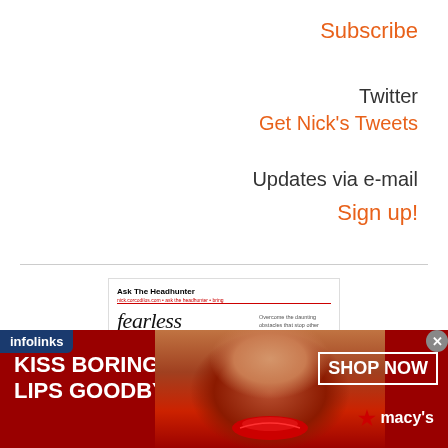Subscribe
Twitter
Get Nick's Tweets
Updates via e-mail
Sign up!
[Figure (illustration): Book cover for 'fearless job hunting' by Ask The Headhunter, featuring two blue bar chart bars overlaid on the title text, subtitle 'THE COMPLETE COLLECTION Books One to Nine']
[Figure (infographic): Advertisement banner: red background with woman's face/lips photo, text 'KISS BORING LIPS GOODBYE', 'SHOP NOW' button, Macy's star logo, infolinks tag]